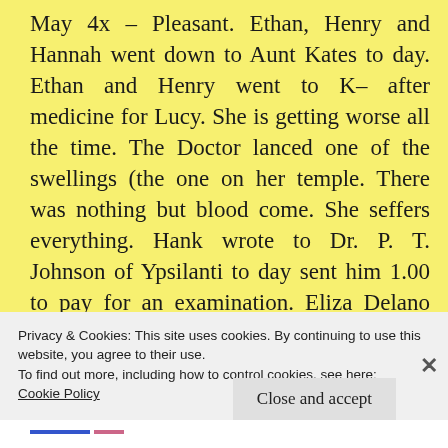May 4x – Pleasant. Ethan, Henry and Hannah went down to Aunt Kates to day. Ethan and Henry went to K– after medicine for Lucy. She is getting worse all the time. The Doctor lanced one of the swellings (the one on her temple. There was nothing but blood come. She seffers everything. Hank wrote to Dr. P. T. Johnson of Ypsilanti to day sent him 1.00 to pay for an examination. Eliza Delano was burried to day.
May 5 – Pleasant. Hank plowed for Father all
Privacy & Cookies: This site uses cookies. By continuing to use this website, you agree to their use.
To find out more, including how to control cookies, see here:
Cookie Policy